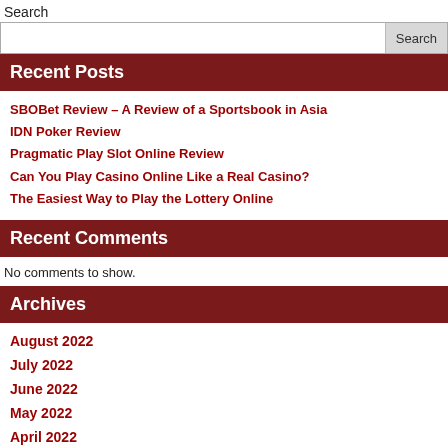Search
[Search input field with Search button]
Recent Posts
SBOBet Review – A Review of a Sportsbook in Asia
IDN Poker Review
Pragmatic Play Slot Online Review
Can You Play Casino Online Like a Real Casino?
The Easiest Way to Play the Lottery Online
Recent Comments
No comments to show.
Archives
August 2022
July 2022
June 2022
May 2022
April 2022